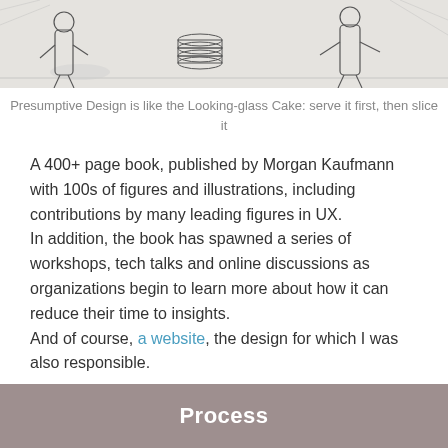[Figure (illustration): Black and white sketch illustration of figures, resembling an Alice in Wonderland scene with people and stacked objects]
Presumptive Design is like the Looking-glass Cake: serve it first, then slice it
A 400+ page book, published by Morgan Kaufmann with 100s of figures and illustrations, including contributions by many leading figures in UX.
In addition, the book has spawned a series of workshops, tech talks and online discussions as organizations begin to learn more about how it can reduce their time to insights.
And of course, a website, the design for which I was also responsible.
Process